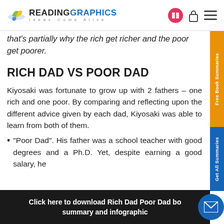READINGRAPHICS Ideas Come Alive
that's partially why the rich get richer and the poor get poorer.
RICH DAD VS POOR DAD
Kiyosaki was fortunate to grow up with 2 fathers – one rich and one poor. By comparing and reflecting upon the different advice given by each dad, Kiyosaki was able to learn from both of them.
"Poor Dad". His father was a school teacher with good degrees and a Ph.D. Yet, despite earning a good salary, he
Click here to download Rich Dad Poor Dad book summary and infographic